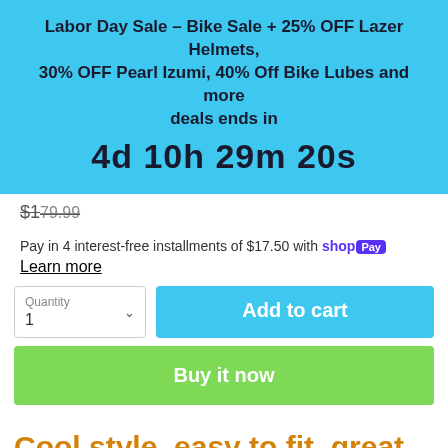Labor Day Sale - Bike Sale + 25% OFF Lazer Helmets, 30% OFF Pearl Izumi, 40% Off Bike Lubes and more deals ends in
4d 10h 29m 20s
$[price strikethrough]
Pay in 4 interest-free installments of $17.50 with shop Pay
Learn more
Quantity 1
Add to cart
Buy it now
Cool style, easy to fit, great ventilation and enhanced MIP protection.